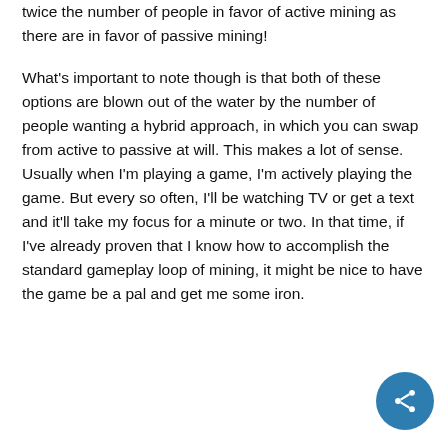twice the number of people in favor of active mining as there are in favor of passive mining!
What's important to note though is that both of these options are blown out of the water by the number of people wanting a hybrid approach, in which you can swap from active to passive at will. This makes a lot of sense.  Usually when I'm playing a game, I'm actively playing the game. But every so often, I'll be watching TV or get a text and it'll take my focus for a minute or two. In that time, if I've already proven that I know how to accomplish the standard gameplay loop of mining, it might be nice to have the game be a pal and get me some iron.